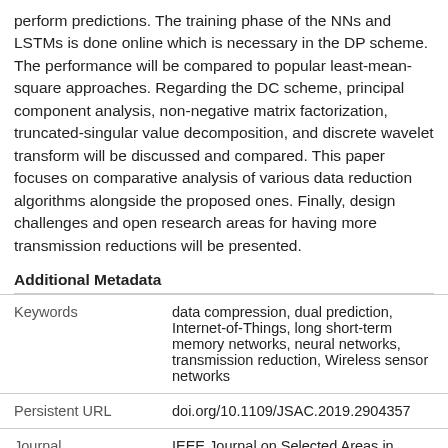perform predictions. The training phase of the NNs and LSTMs is done online which is necessary in the DP scheme. The performance will be compared to popular least-mean-square approaches. Regarding the DC scheme, principal component analysis, non-negative matrix factorization, truncated-singular value decomposition, and discrete wavelet transform will be discussed and compared. This paper focuses on comparative analysis of various data reduction algorithms alongside the proposed ones. Finally, design challenges and open research areas for having more transmission reductions will be presented.
Additional Metadata
|  |  |
| --- | --- |
| Keywords | data compression, dual prediction, Internet-of-Things, long short-term memory networks, neural networks, transmission reduction, Wireless sensor networks |
| Persistent URL | doi.org/10.1109/JSAC.2019.2904357 |
| Journal | IEEE Journal on Selected Areas in Communications |